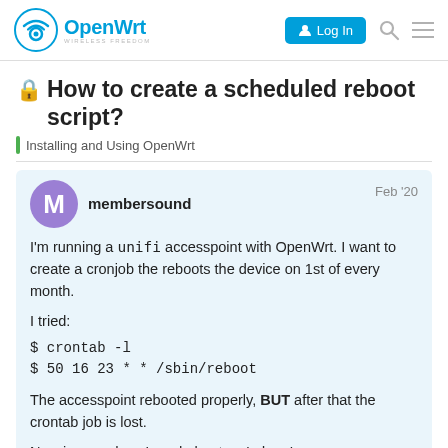OpenWrt Forum — Log In
🔒 How to create a scheduled reboot script?
Installing and Using OpenWrt
membersound   Feb '20
I'm running a unifi accesspoint with OpenWrt. I want to create a cronjob the reboots the device on 1st of every month.

I tried:
$ crontab -l
$ 50 16 23 * * /sbin/reboot

The accesspoint rebooted properly, BUT after that the crontab job is lost.

Now in your docs I read about watchcat.
1 / 15